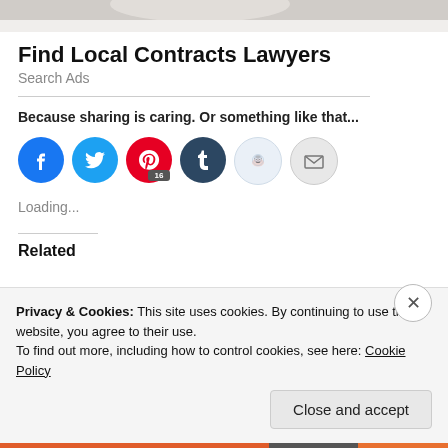[Figure (photo): Partial photo strip at top of page, cropped from a larger image]
Find Local Contracts Lawyers
Search Ads
Because sharing is caring. Or something like that...
[Figure (infographic): Social sharing icons: Facebook (blue), Twitter (light blue), Pinterest (red, badge 16), Tumblr (dark blue), Reddit (light blue), Email (gray)]
Loading...
Related
Privacy & Cookies: This site uses cookies. By continuing to use this website, you agree to their use.
To find out more, including how to control cookies, see here: Cookie Policy